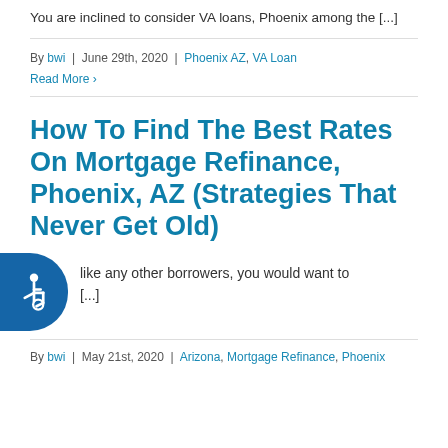You are inclined to consider VA loans, Phoenix among the [...]
By bwi | June 29th, 2020 | Phoenix AZ, VA Loan
Read More >
How To Find The Best Rates On Mortgage Refinance, Phoenix, AZ (Strategies That Never Get Old)
like any other borrowers, you would want to [...]
By bwi | May 21st, 2020 | Arizona, Mortgage Refinance, Phoenix